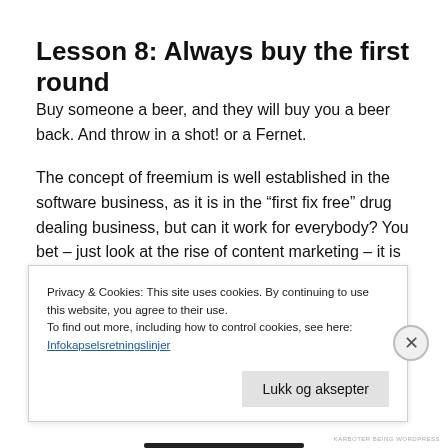Lesson 8: Always buy the first round
Buy someone a beer, and they will buy you a beer back. And throw in a shot! or a Fernet.
The concept of freemium is well established in the software business, as it is in the “first fix free” drug dealing business, but can it work for everybody? You bet – just look at the rise of content marketing – it is built
Privacy & Cookies: This site uses cookies. By continuing to use this website, you agree to their use.
To find out more, including how to control cookies, see here:
Infokapselsretningslinjer
Lukk og aksepter